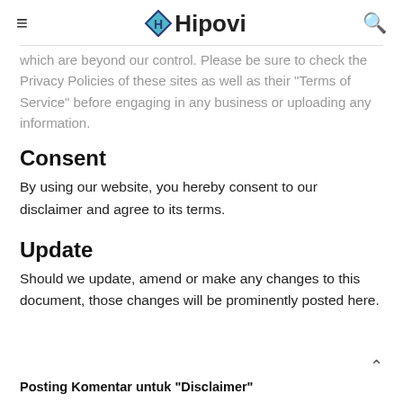≡  Hipovi  🔍
which are beyond our control. Please be sure to check the Privacy Policies of these sites as well as their "Terms of Service" before engaging in any business or uploading any information.
Consent
By using our website, you hereby consent to our disclaimer and agree to its terms.
Update
Should we update, amend or make any changes to this document, those changes will be prominently posted here.
Posting Komentar untuk "Disclaimer"